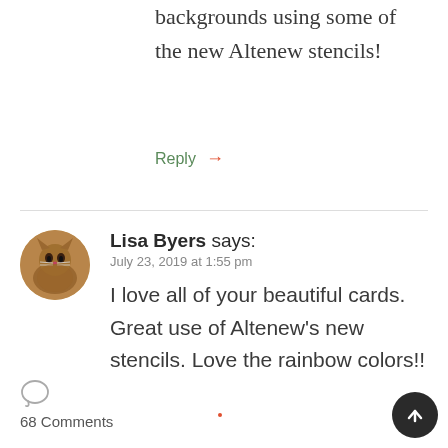backgrounds using some of the new Altenew stencils!
Reply →
Lisa Byers says: July 23, 2019 at 1:55 pm
I love all of your beautiful cards. Great use of Altenew's new stencils. Love the rainbow colors!!
68 Comments